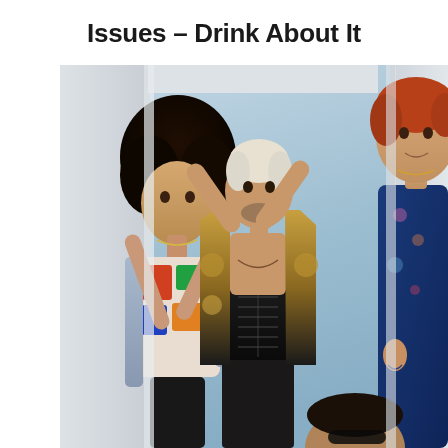Issues – Drink About It
[Figure (photo): Four members of the band Issues posing in and around a white door frame against a light blue background. One member with curly dark hair and colorful outfit on the left, a center member with bleached hair wearing an ornate open jacket and corset, a red-haired member peeking from the right side, and a fourth member partially visible at the bottom right.]